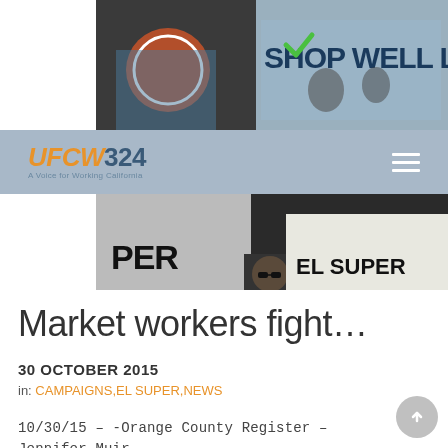[Figure (photo): Protest photo showing people wearing UFCW t-shirts with a sign reading SHOP WELL LA in the background, top portion]
UFCW 324 - A Voice for Working California
[Figure (photo): Protest photo showing signs reading EL SUPER WORKERS and text PER, S ARE, SUPER on the left]
Market workers fight…
30 OCTOBER 2015
in: CAMPAIGNS, EL SUPER, NEWS
10/30/15 – -Orange County Register – Jennifer Muir